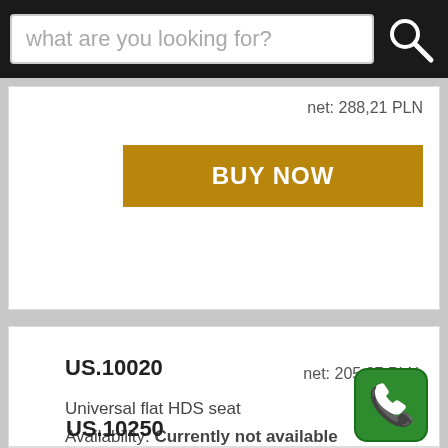[Figure (screenshot): Search bar with placeholder text 'what are you looking for?' and a magnifying glass icon on dark background]
net: 288,21 PLN
BUY NOW
US.10020
Universal flat HDS seat
Availability: Currently not available
net: 205,37 PLN
US.10250